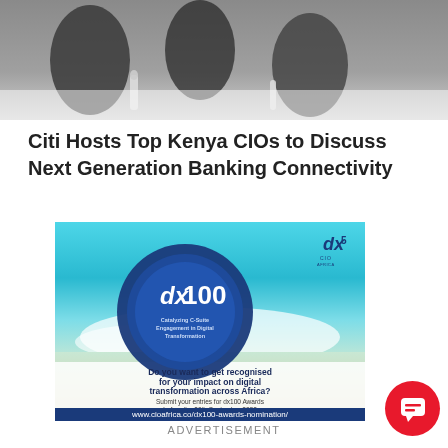[Figure (photo): Top portion of a photo showing people seated at a dining table, partially cropped. Blurred figures visible with bottles and glasses on table.]
Citi Hosts Top Kenya CIOs to Discuss Next Generation Banking Connectivity
[Figure (illustration): Advertisement banner for dx100 CIO Awards. Features beach/ocean background with a dark blue circular logo showing 'dx100' and text 'Catalyzing C-Suite Engagement in Digital Transformation'. Text reads: 'Do you want to get recognised for your impact on digital transformation across Africa? Submit your entries for dx100 Awards before the 30th September 2022' with website www.cioafrica.co/dx100-awards-nomination/ and social handles @dx5vo @dx5group. dx5 logo in top right corner.]
ADVERTISEMENT